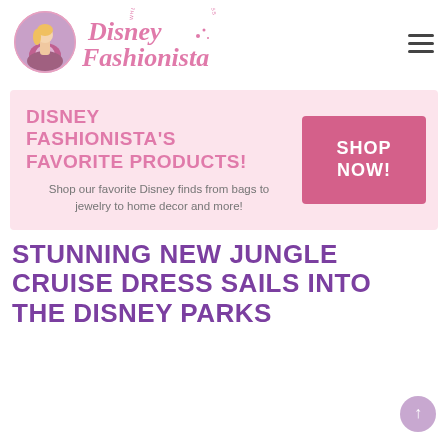[Figure (logo): Disney Fashionista logo with a circular illustration of a Disney princess and cursive 'Disney Fashionista' text with tagline 'Where Fashion Meets Happilyness']
DISNEY FASHIONISTA'S FAVORITE PRODUCTS!
Shop our favorite Disney finds from bags to jewelry to home decor and more!
SHOP NOW!
STUNNING NEW JUNGLE CRUISE DRESS SAILS INTO THE DISNEY PARKS